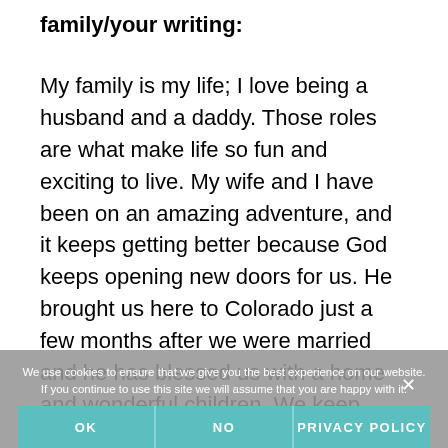family/your writing:
My family is my life; I love being a husband and a daddy. Those roles are what make life so fun and exciting to live. My wife and I have been on an amazing adventure, and it keeps getting better because God keeps opening new doors for us. He brought us here to Colorado just a few months after we were married and he has blessed us with a home and wonderful children. We keep learning more about each other and about being parents, and I'm blessed to have a wife who is an amazing mom and teacher. My wife has come a long and
We use cookies to ensure that we give you the best experience on our website. If you continue to use this site we will assume that you are happy with it.
OK    NO    PRIVACY POLICY